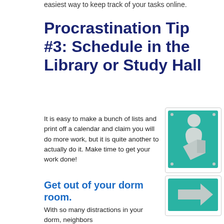easiest way to keep track of your tasks online.
Procrastination Tip #3: Schedule in the Library or Study Hall
It is easy to make a bunch of lists and print off a calendar and claim you will do more work, but it is quite another to actually do it. Make time to get your work done!
[Figure (photo): Green library sign with white pictogram of a person reading a book, and below it a green directional sign with a white arrow pointing right.]
Get out of your dorm room.
With so many distractions in your dorm, neighbors